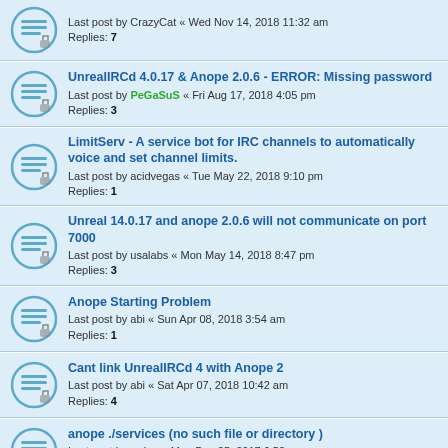Last post by CrazyCat « Wed Nov 14, 2018 11:32 am
Replies: 7
UnrealIRCd 4.0.17 & Anope 2.0.6 - ERROR: Missing password
Last post by PeGaSuS « Fri Aug 17, 2018 4:05 pm
Replies: 3
LimitServ - A service bot for IRC channels to automatically voice and set channel limits.
Last post by acidvegas « Tue May 22, 2018 9:10 pm
Replies: 1
Unreal 14.0.17 and anope 2.0.6 will not communicate on port 7000
Last post by usalabs « Mon May 14, 2018 8:47 pm
Replies: 3
Anope Starting Problem
Last post by abi « Sun Apr 08, 2018 3:54 am
Replies: 1
Cant link UnrealIRCd 4 with Anope 2
Last post by abi « Sat Apr 07, 2018 10:42 am
Replies: 4
anope ./services (no such file or directory )
Last post by wzion « Mon Dec 25, 2017 6:52 am
Replies: 3
botserv
Last post by bluedemon « Mon Oct 23, 2017 2:31 pm
Replies: 2
BOPM not working
Last post by floffy « Mon Mar 27, 2017 9:14 pm